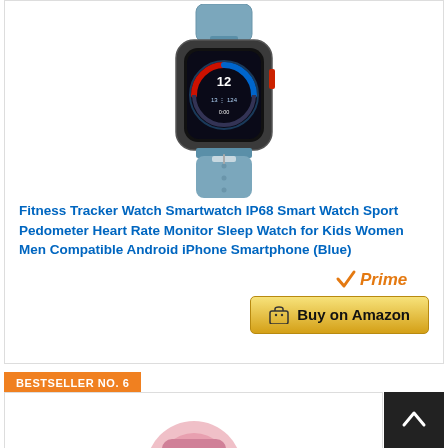[Figure (photo): Blue smartwatch/fitness tracker with dark rectangular case, blue silicone band, and colorful watch face showing time 12 and fitness metrics]
Fitness Tracker Watch Smartwatch IP68 Smart Watch Sport Pedometer Heart Rate Monitor Sleep Watch for Kids Women Men Compatible Android iPhone Smartphone (Blue)
[Figure (logo): Amazon Prime badge with checkmark and italic Prime text in orange]
Buy on Amazon
BESTSELLER NO. 6
[Figure (photo): Partial view of a pink fitness tracker/smartwatch band at the bottom of the page]